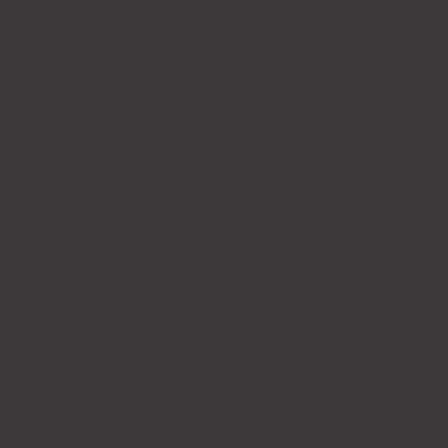[Figure (photo): A nearly uniform dark gray/charcoal background with very slight texture variation, no visible text or distinct graphical elements.]